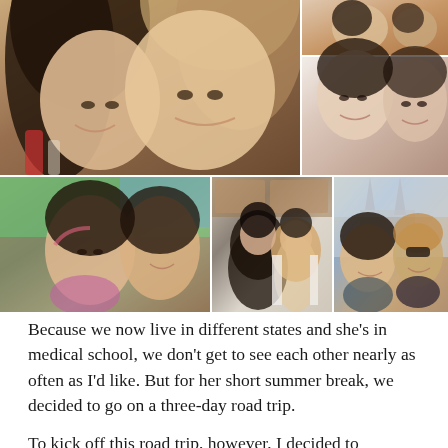[Figure (photo): Collage of six photos showing two young women together in various settings: a close-up selfie (main large photo, top-left), a small outdoor photo (top-right small), a portrait of two women smiling (top-right large), an outdoor cliffside selfie (bottom-left), an indoor standing photo (bottom-middle), and a photo in front of a cathedral/Notre Dame (bottom-right).]
Because we now live in different states and she’s in medical school, we don’t get to see each other nearly as often as I’d like. But for her short summer break, we decided to go on a three-day road trip.
To kick off this road trip, however, I decided to